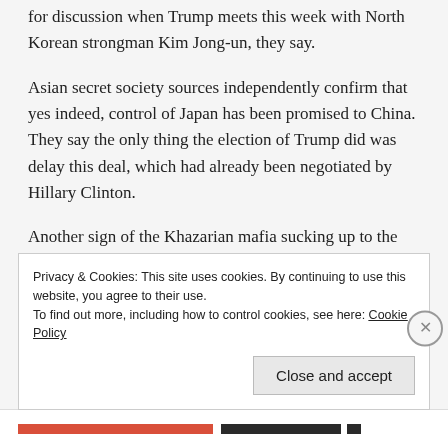for discussion when Trump meets this week with North Korean strongman Kim Jong-un, they say.
Asian secret society sources independently confirm that yes indeed, control of Japan has been promised to China. They say the only thing the election of Trump did was delay this deal, which had already been negotiated by Hillary Clinton.
Another sign of the Khazarian mafia sucking up to the Chinese was seen last week when Saudi Clone...
Privacy & Cookies: This site uses cookies. By continuing to use this website, you agree to their use.
To find out more, including how to control cookies, see here: Cookie Policy
Close and accept